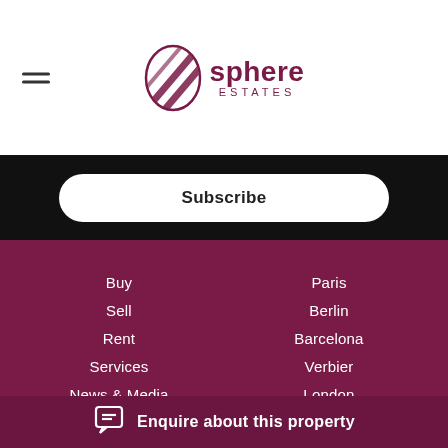[Figure (logo): Sphere Estates logo with stylized sphere icon and text 'sphere ESTATES']
Subscribe
Buy
Sell
Rent
Services
News & Media
About Us
Contact Us
Paris
Berlin
Barcelona
Verbier
London
New York
Enquire about this property